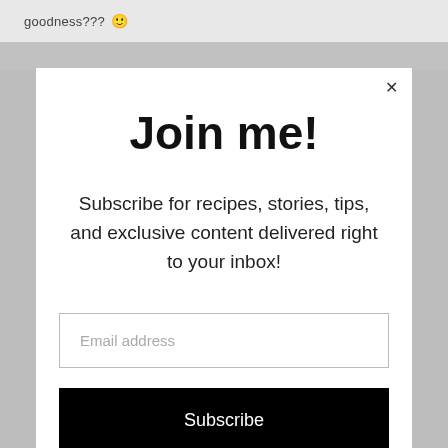goodness??? 🙂
[Figure (screenshot): Website screenshot background with navigation bar]
Join me!
Subscribe for recipes, stories, tips, and exclusive content delivered right to your inbox!
Email address
Subscribe